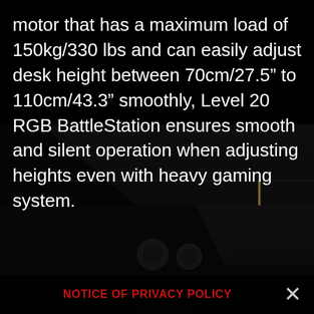motor that has a maximum load of 150kg/330 lbs and can easily adjust desk height between 70cm/27.5” to 110cm/43.3” smoothly, Level 20 RGB BattleStation ensures smooth and silent operation when adjusting heights even with heavy gaming system.
[Figure (photo): Dark product photo of a gaming desk/furniture piece, showing a black angular surface with metallic accents and a faint vertical light strip on the right side, against a black background.]
NOTICE OF PRIVACY POLICY